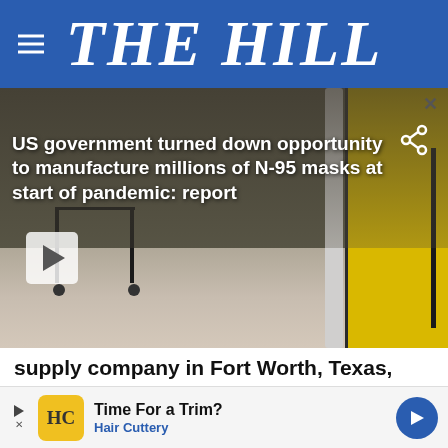THE HILL
[Figure (screenshot): Video thumbnail showing hospital corridor with medical beds and yellow laundry cart. Overlay text reads: US government turned down opportunity to manufacture millions of N-95 masks at start of pandemic: report. Play button visible at bottom left, share icon at top right.]
supply company in Fort Worth, Texas, offered to ramp up production to make an additional 1.7 million N95 masks, noting that the federal gove
[Figure (infographic): Advertisement banner: Time For a Trim? Hair Cuttery, with HC logo and navigation arrow.]